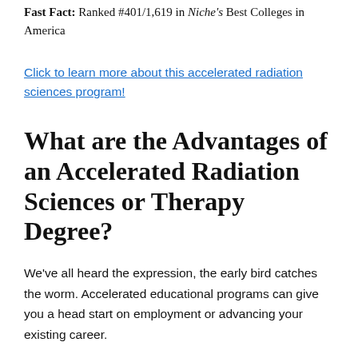Fast Fact: Ranked #401/1,619 in Niche's Best Colleges in America
Click to learn more about this accelerated radiation sciences program!
What are the Advantages of an Accelerated Radiation Sciences or Therapy Degree?
We've all heard the expression, the early bird catches the worm. Accelerated educational programs can give you a head start on employment or advancing your existing career.
Accelerated programs offer students immersion in their field and can typically be completed in 2-3 years. General